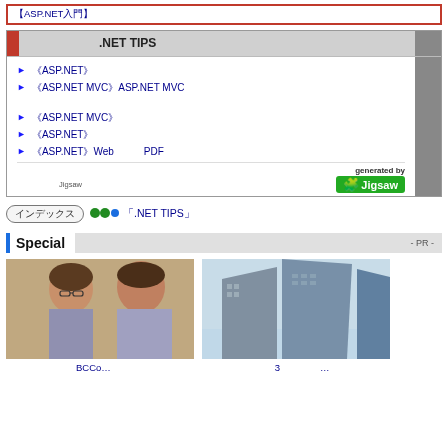【ASP.NET入門】.NET TIPS
【ASP.NET】コントロールの値をJavaScriptで取得・変更するには？
【ASP.NET MVC】ASP.NET MVCのビューにモデルのデータを渡すには？
【ASP.NET MVC】コントローラーからビューにデータを渡すには？
【ASP.NET】コントロールを動的に追加・削除するには？
【ASP.NET】WebページからクライアントにPDFファイルを送るには？
generated by Jigsaw
インデックス ●●• 「.NET TIPS」
Special - PR -
[Figure (photo): Two Japanese men in business attire, portrait photo]
[Figure (photo): Modern skyscrapers viewed from below against sky]
【インタビュー】BCCo...
【インタビュー】3つのポイント...